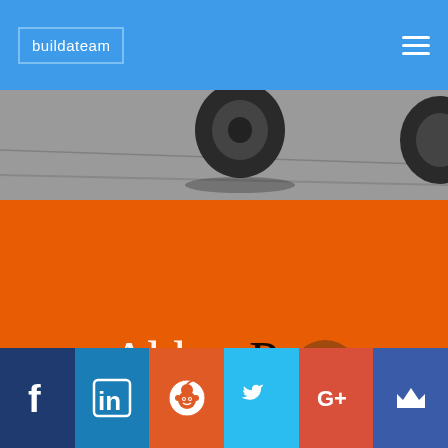buildateam
[Figure (photo): Black and white close-up photo of a wheel or caster on a floor surface]
[Figure (logo): AbbeyPost logo with text 'MADE TO MEASURE' on orange background]
[Figure (infographic): Social media icons bar: Facebook, LinkedIn, Reddit, Twitter, Google+, and crown icon]